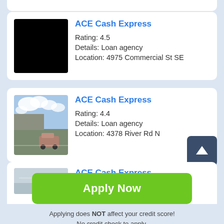[Figure (other): ACE Cash Express listing card with black placeholder image, showing rating 4.5, Loan agency, 4975 Commercial St SE]
ACE Cash Express
Rating: 4.5
Details: Loan agency
Location: 4975 Commercial St SE
[Figure (other): ACE Cash Express listing card with street-view photo, showing rating 4.4, Loan agency, 4378 River Rd N]
ACE Cash Express
Rating: 4.4
Details: Loan agency
Location: 4378 River Rd N
[Figure (other): Partial ACE Cash Express listing card (truncated at bottom of visible area)]
ACE Cash Express
Applying does NOT affect your credit score!
No credit check to apply.